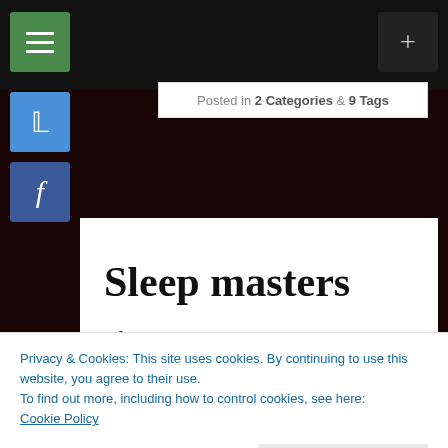Posted in 2 Categories & 9 Tags
Sleep masters
I find sleep to be a cruel mirage that taunts me while I search for its mystical powers. I go to bed out of a sense of responsibility and impatiently wait for another restless nite to
Privacy & Cookies: This site uses cookies. By continuing to use this website, you agree to their use.
To find out more, including how to control cookies, see here:
Cookie Policy
make me more envious of those who quickly